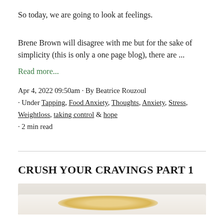So today, we are going to look at feelings.
Brene Brown will disagree with me but for the sake of simplicity (this is only a one page blog), there are ...
Read more...
Apr 4, 2022 09:50am · By Beatrice Rouzoul
· Under Tapping, Food Anxiety, Thoughts, Anxiety, Stress, Weightloss, taking control & hope
· 2 min read
CRUSH YOUR CRAVINGS PART 1
[Figure (photo): Photo of food items on a white plate, appearing to be fried or breaded snack pieces]